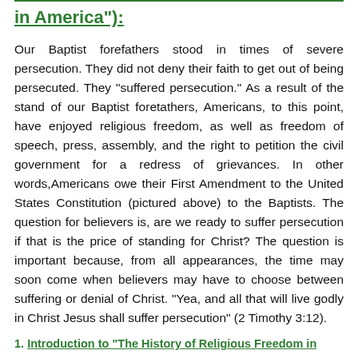in America"):
Our Baptist forefathers stood in times of severe persecution. They did not deny their faith to get out of being persecuted. They “suffered persecution.” As a result of the stand of our Baptist foretathers, Americans, to this point, have enjoyed religious freedom, as well as freedom of speech, press, assembly, and the right to petition the civil government for a redress of grievances. In other words,Americans owe their First Amendment to the United States Constitution (pictured above) to the Baptists. The question for believers is, are we ready to suffer persecution if that is the price of standing for Christ? The question is important because, from all appearances, the time may soon come when believers may have to choose between suffering or denial of Christ. “Yea, and all that will live godly in Christ Jesus shall suffer persecution” (2 Timothy 3:12).
1. Introduction to “The History of Religious Freedom in